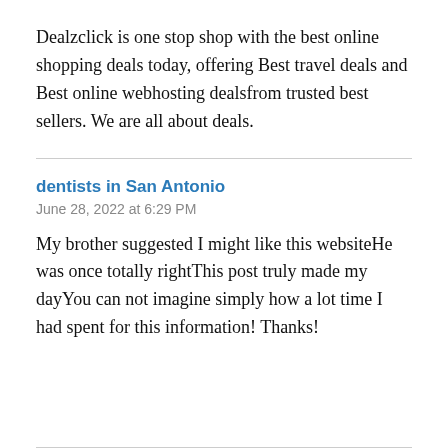Dealzclick is one stop shop with the best online shopping deals today, offering Best travel deals and Best online webhosting dealsfrom trusted best sellers. We are all about deals.
dentists in San Antonio
June 28, 2022 at 6:29 PM
My brother suggested I might like this websiteHe was once totally rightThis post truly made my dayYou can not imagine simply how a lot time I had spent for this information! Thanks!